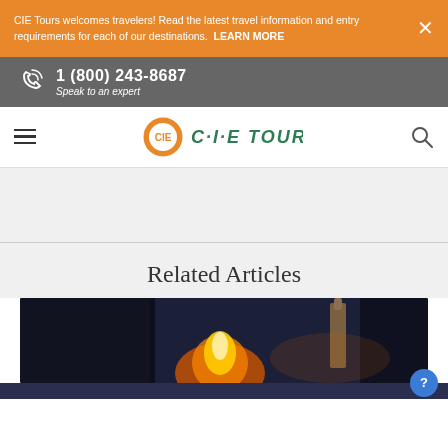CIE Tours welcomes travelers! Read the latest travel information and entry requirements for each of our destinations. LEARN MORE
1 (800) 243-8687 Speak to an expert
[Figure (logo): CIE Tours logo with circular orange icon and green italic text C-I-E TOURS]
Related Articles
[Figure (photo): Dark interior scene of what appears to be a pub or whiskey distillery with a glowing fire and bottle silhouettes]